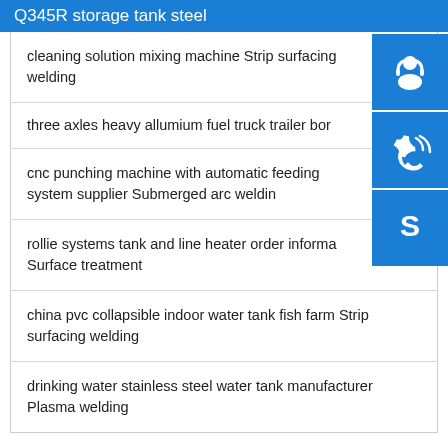Q345R storage tank steel
cleaning solution mixing machine Strip surfacing welding
three axles heavy allumium fuel truck trailer bor
cnc punching machine with automatic feeding system supplier Submerged arc weldin
rollie systems tank and line heater order informa Surface treatment
china pvc collapsible indoor water tank fish farm Strip surfacing welding
drinking water stainless steel water tank manufacturer Plasma welding